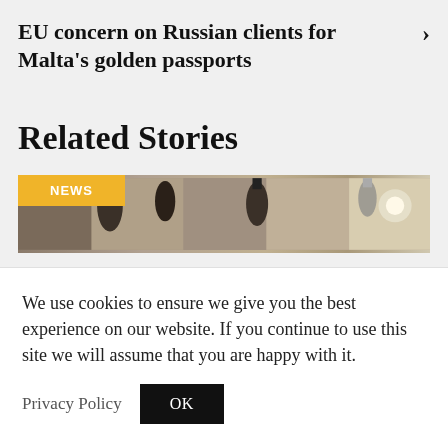EU concern on Russian clients for Malta's golden passports
Related Stories
[Figure (photo): News article thumbnail showing overhead view of what appears to be security or industrial equipment, with a yellow 'NEWS' badge overlaid on the top left]
We use cookies to ensure we give you the best experience on our website. If you continue to use this site we will assume that you are happy with it.
Privacy Policy   OK